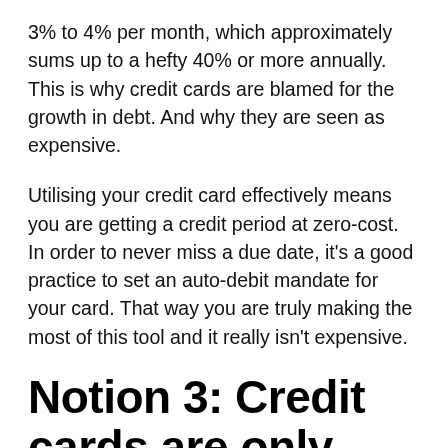3% to 4% per month, which approximately sums up to a hefty 40% or more annually. This is why credit cards are blamed for the growth in debt. And why they are seen as expensive.
Utilising your credit card effectively means you are getting a credit period at zero-cost. In order to never miss a due date, it's a good practice to set an auto-debit mandate for your card. That way you are truly making the most of this tool and it really isn't expensive.
Notion 3: Credit cards are only meant for the uber rich